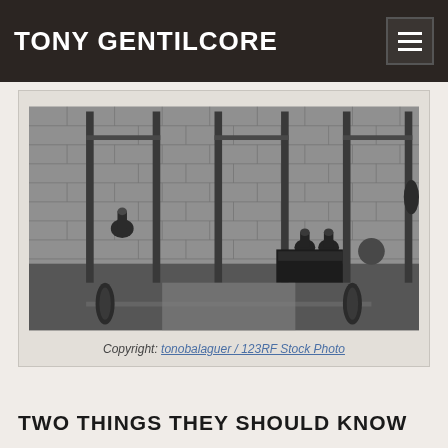TONY GENTILCORE
[Figure (photo): Black and white photo of a weightlifting gym interior with power racks, kettlebells, a barbell with weight plates on the floor, and a plyo box. Brick wall in background.]
Copyright: tonobalaguer / 123RF Stock Photo
TWO THINGS THEY SHOULD KNOW